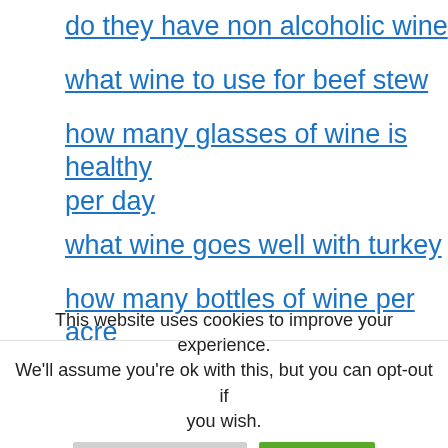do they have non alcoholic wine
what wine to use for beef stew
how many glasses of wine is healthy per day
what wine goes well with turkey
how many bottles of wine per acre
does red wine have sugar
what are dry wines
what wine goes with pork chops
This website uses cookies to improve your experience. We'll assume you're ok with this, but you can opt-out if you wish.
Cookie Settings  Accept